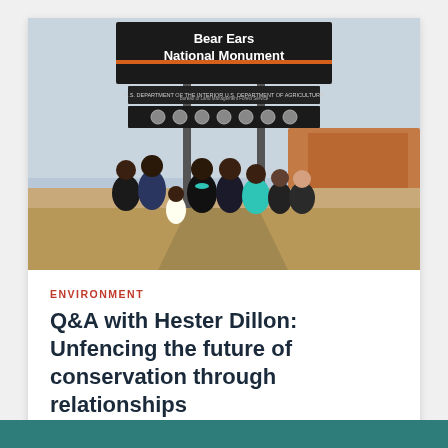[Figure (photo): Group of people standing under a Bear Ears National Monument sign in a desert landscape. Sign reads 'Bear Ears National Monument' with U.S. Department of the Interior and Bureau of Land Management / U.S. Department of Agriculture Forest Service logos.]
ENVIRONMENT
Q&A with Hester Dillon: Unfencing the future of conservation through relationships